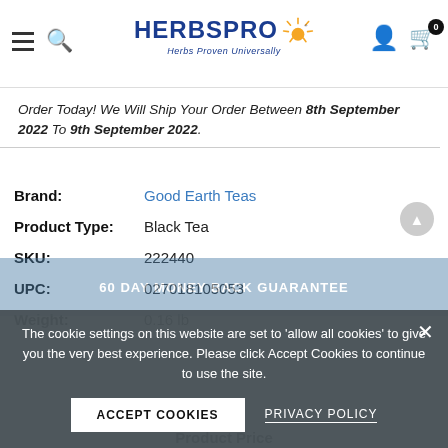HERBSPRO - Herbs Proven Universally
Order Today! We Will Ship Your Order Between 8th September 2022 To 9th September 2022.
| Field | Value |
| --- | --- |
| Brand: | Good Earth Teas |
| Product Type: | Black Tea |
| SKU: | 222440 |
| UPC: | 027018105053 |
| Weight: | 0.16 lb |
[Figure (screenshot): Faded 60-day money back guarantee banner visible behind cookie overlay]
The cookie settings on this website are set to 'allow all cookies' to give you the very best experience. Please click Accept Cookies to continue to use the site.
ACCEPT COOKIES   PRIVACY POLICY
Product Price